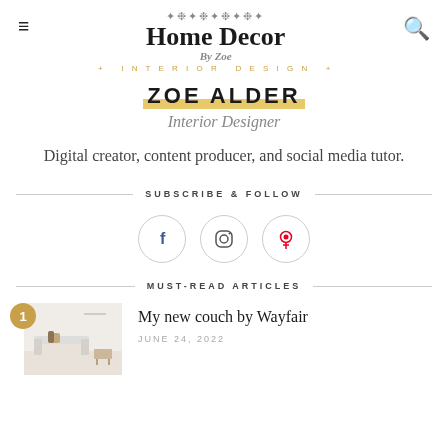Home Decor By Zoe · INTERIOR DESIGN
ZOE ALDER
Interior Designer
Digital creator, content producer, and social media tutor.
SUBSCRIBE & FOLLOW
[Figure (infographic): Three social media icon circles: Facebook (f), Instagram (camera), Pinterest (P)]
MUST-READ ARTICLES
[Figure (photo): Article thumbnail showing a white modern living room with a couch, small table, and bags]
My new couch by Wayfair
JUNE 24, 2022